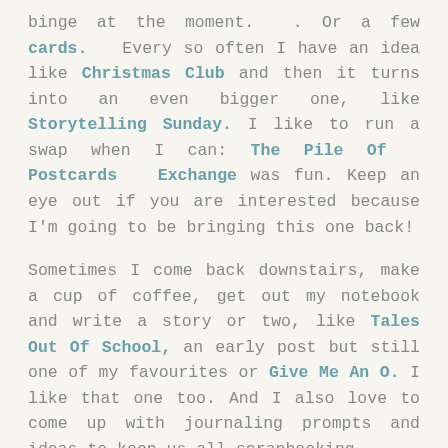binge at the moment.  . Or a few cards.  Every so often I have an idea like Christmas Club and then it turns into an even bigger one, like Storytelling Sunday. I like to run a swap when I can: The Pile Of  Postcards  Exchange  was fun. Keep an eye out if you are interested because I'm going to be bringing this one back!
Sometimes I come back downstairs, make a cup of coffee, get out my notebook and write a story or two, like Tales Out Of School, an early post but still one of my favourites or Give Me An O. I like that one too. And I also love to come up with journaling prompts and ideas to keep us all scrapbooking,